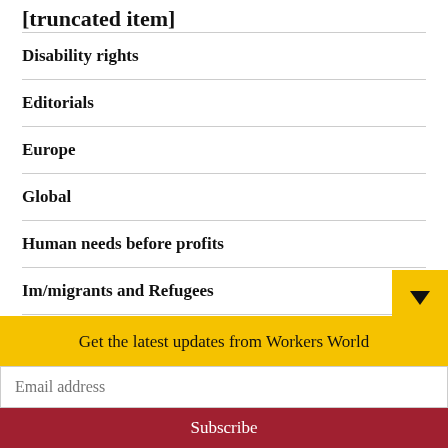[truncated top item]
Disability rights
Editorials
Europe
Global
Human needs before profits
Im/migrants and Refugees
Latin America & the Caribbean
LGBTQ2+ liberation
Middle East
Mundo Obrero
[partially visible item]
Get the latest updates from Workers World
Email address
Subscribe